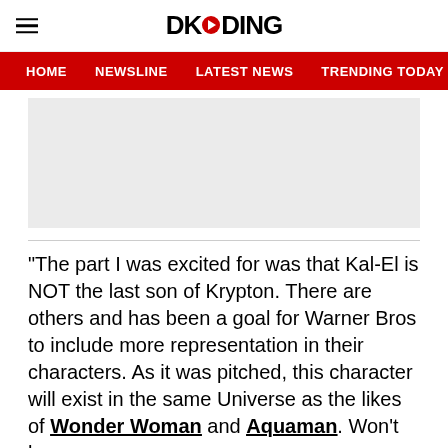DKODING
HOME   NEWSLINE   LATEST NEWS   TRENDING TODAY   ENT
[Figure (other): Grey advertisement placeholder box]
“The part I was excited for was that Kal-El is NOT the last son of Krypton. There are others and has been a goal for Warner Bros to include more representation in their characters. As it was pitched, this character will exist in the same Universe as the likes of Wonder Woman and Aquaman. Won’t be a